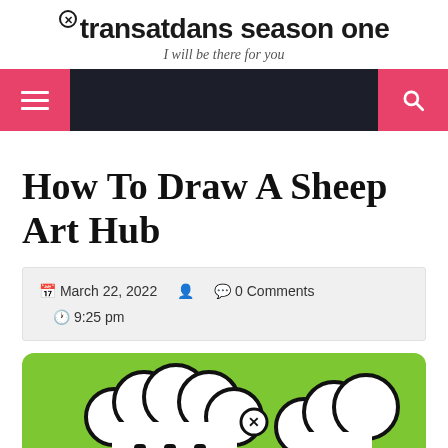transatdans season one
I will be there for you
[Figure (screenshot): Navigation bar with dark background, pink hamburger menu button on left and pink search button on right]
How To Draw A Sheep Art Hub
March 22, 2022  0 Comments  9:25 pm
[Figure (illustration): Partial illustration of cartoon sheep with fluffy cloud-like wool body on green background, image cropped at bottom of page]